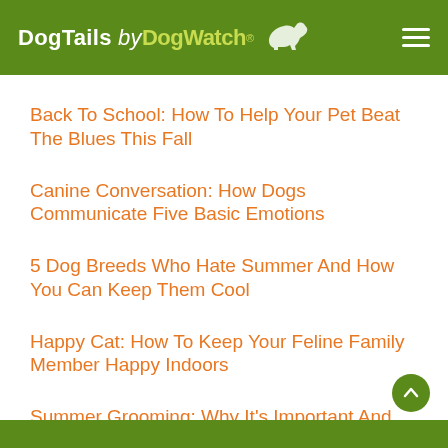DogTails by DogWatch®
Back To School: How To Help Your Pet Beat The Blues This Fall
Canine Conversation: How Dogs Communicate Five Basic Emotions
5 Dog Breeds Who Hate Summer And How You Can Keep Them Cool
Happy Cat: How To Keep Your Feline Family Member Happy Indoors
Summer Grooming: Why It's Important And How To Do It